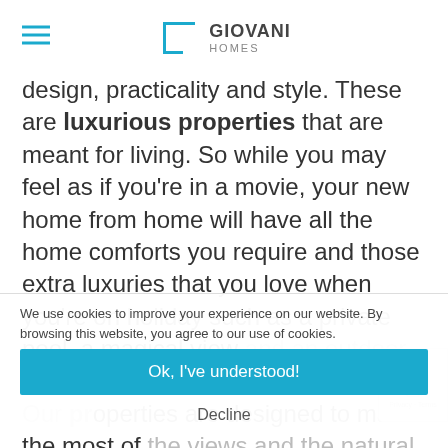GIOVANI HOMES
design, practicality and style. These are luxurious properties that are meant for living. So while you may feel as if you're in a movie, your new home from home will have all the home comforts you require and those extra luxuries that you love when you're on holiday such as a private pool, a magical view and an outdoor dining area.
Our properties are designed to make the most of the views and the natural light and to be comfortable all year round, so you'll have a great time on your summer holiday as well as on your winter break. Here are four great projects you
We use cookies to improve your experience on our website. By browsing this website, you agree to our use of cookies.
Ok, I've understood!
Decline